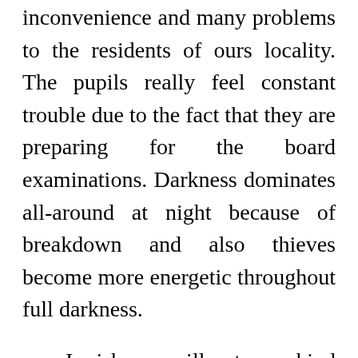inconvenience and many problems to the residents of ours locality. The pupils really feel constant trouble due to the fact that they are preparing for the board examinations. Darkness dominates all-around at night because of breakdown and also thieves become more energetic throughout full darkness.
I wish you will put your kind attention to our letter and publish our important letter in your renowned paper so the authorities might recognize our troubles as well as take the essential action on the issue of load shedding.